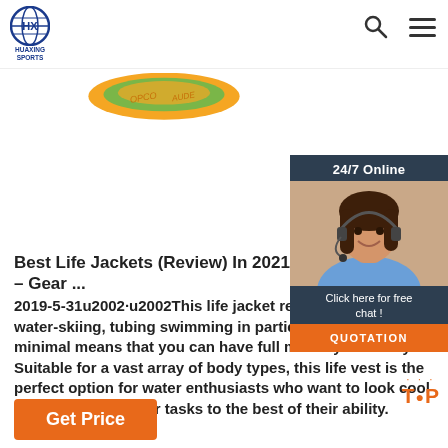[Figure (logo): HUAXING SPORTS logo: blue globe with letters, text below]
[Figure (photo): Partial view of a colorful sports/life jacket product (orange and green)]
[Figure (photo): 24/7 Online chat widget showing a female customer service agent with headset, 'Click here for free chat!' text and orange QUOTATION button]
Best Life Jackets (Review) In 2021 [Bu\ – Gear ...
2019-5-31u2002·u2002This life jacket recommended for water-skiing, tubing swimming in particular, as the minimal means that you can have full mobility flexibility. Suitable for a vast array of body types, this life vest is the perfect option for water enthusiasts who want to look cool and get on with their tasks to the best of their ability.
[Figure (other): Orange TOP button with decorative dots]
Get Price